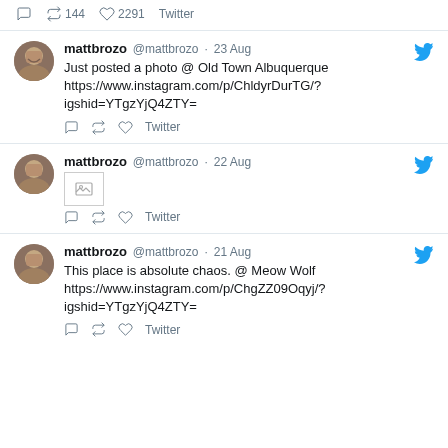144  2291  Twitter
[Figure (screenshot): Tweet by mattbrozo @mattbrozo · 23 Aug: Just posted a photo @ Old Town Albuquerque https://www.instagram.com/p/ChldyrDurTG/?igshid=YTgzYjQ4ZTY=]
[Figure (screenshot): Tweet by mattbrozo @mattbrozo · 22 Aug: image placeholder]
[Figure (screenshot): Tweet by mattbrozo @mattbrozo · 21 Aug: This place is absolute chaos. @ Meow Wolf https://www.instagram.com/p/ChgZZ09Oqyj/?igshid=YTgzYjQ4ZTY=]